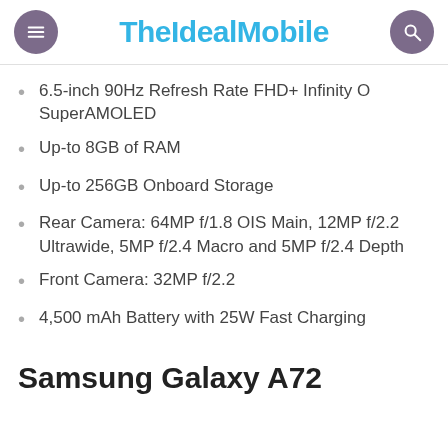TheIdealMobile
6.5-inch 90Hz Refresh Rate FHD+ Infinity O SuperAMOLED
Up-to 8GB of RAM
Up-to 256GB Onboard Storage
Rear Camera: 64MP f/1.8 OIS Main, 12MP f/2.2 Ultrawide, 5MP f/2.4 Macro and 5MP f/2.4 Depth
Front Camera: 32MP f/2.2
4,500 mAh Battery with 25W Fast Charging
Samsung Galaxy A72